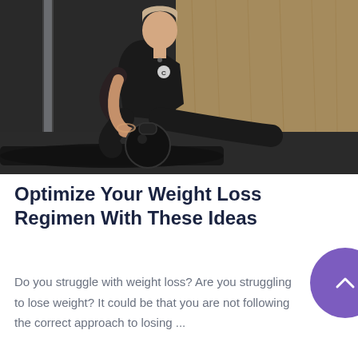[Figure (photo): Woman in black athletic wear sitting on gym floor holding a kettlebell, in a dark gym environment with light reflections on the wall behind her.]
Optimize Your Weight Loss Regimen With These Ideas
Do you struggle with weight loss? Are you struggling to lose weight? It could be that you are not following the correct approach to losing ...